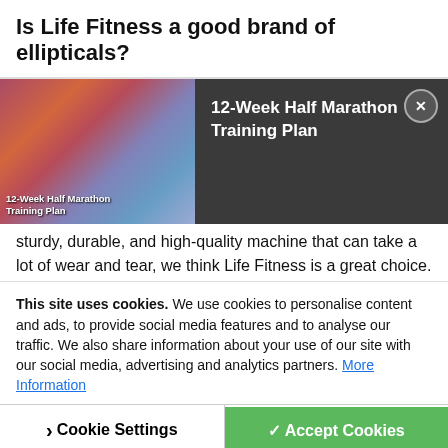Is Life Fitness a good brand of ellipticals?
[Figure (screenshot): Promotional banner showing a running crowd photo on the left labeled '12-Week Half Marathon Training Plan', and on the right a dark background with the title '12-Week Half Marathon Training Plan' in white text. An X close button is in the top-right corner.]
sturdy, durable, and high-quality machine that can take a lot of wear and tear, we think Life Fitness is a great choice.
Are Life Fitness ellipticals good for losing belly fat?
additio
your workout routine. While there's no such thing as a "belly fa
og" machine, ellipticals can h
This site uses cookies. We use cookies to personalise content and ads, to provide social media features and to analyse our traffic. We also share information about your use of our site with our social media, advertising and analytics partners. More Information
Cookie Settings | ✓ Accept Cookies